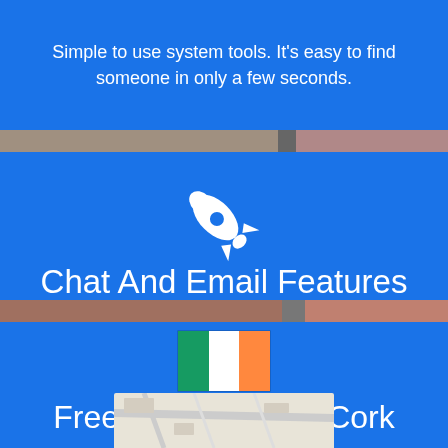Simple to use system tools. It's easy to find someone in only a few seconds.
[Figure (illustration): White rocket ship icon on blue background]
Chat And Email Features
Communication on datememe is easy. You can chat for free with asian guys in Cork instantly.
[Figure (illustration): Irish flag (green, white, orange tricolor)]
Free Dating Site in Cork
[Figure (map): Map preview of Cork area]